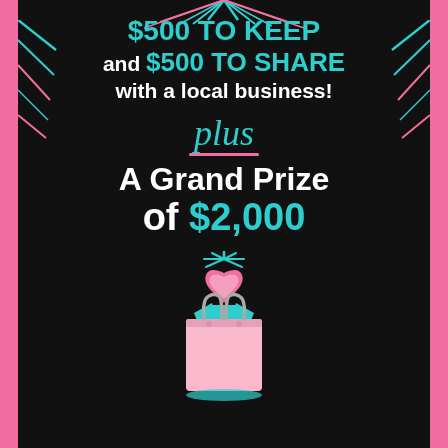$500 TO KEEP and $500 TO SHARE with a local business!
plus
A Grand Prize of $2,000
[Figure (illustration): Pink shopping bag with teal ribbon and a glowing pink heart on top, with teal sparkle lines radiating from the heart, and a teal oval shadow beneath the bag]